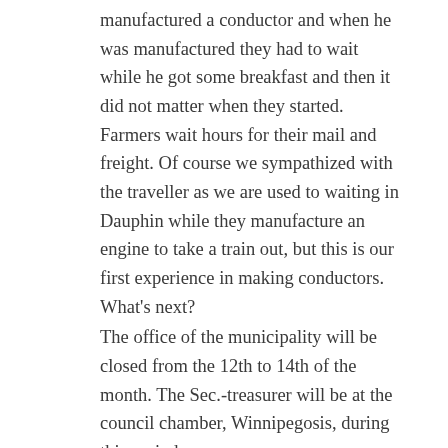manufactured a conductor and when he was manufactured they had to wait while he got some breakfast and then it did not matter when they started. Farmers wait hours for their mail and freight. Of course we sympathized with the traveller as we are used to waiting in Dauphin while they manufacture an engine to take a train out, but this is our first experience in making conductors. What's next?
The office of the municipality will be closed from the 12th to 14th of the month. The Sec.-treasurer will be at the council chamber, Winnipegosis, during this period.
1911 Dec 7 – Winnipegosis
The Sec-treasurer of the municipality will be here at